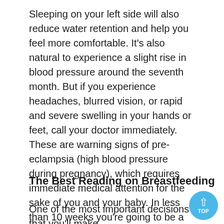Sleeping on your left side will also reduce water retention and help you feel more comfortable. It's also natural to experience a slight rise in blood pressure around the seventh month. But if you experience headaches, blurred vision, or rapid and severe swelling in your hands or feet, call your doctor immediately. These are warning signs of pre-eclampsia (high blood pressure during pregnancy), which requires immediate medical attention for the sake of you and your baby. In less than 10 weeks you're going to be a mom! You may feel excited and happy, apprehensive and scared, or all things combined. Relax! That's normal!
The Best Reading on Breastfeeding
One of the most important decisions that you'll make